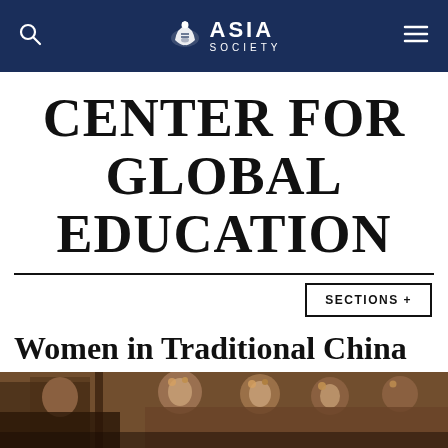ASIA SOCIETY
CENTER FOR GLOBAL EDUCATION
SECTIONS +
Women in Traditional China
[Figure (photo): Sepia-toned historical photograph of Chinese women in traditional dress with flowers in their hair]